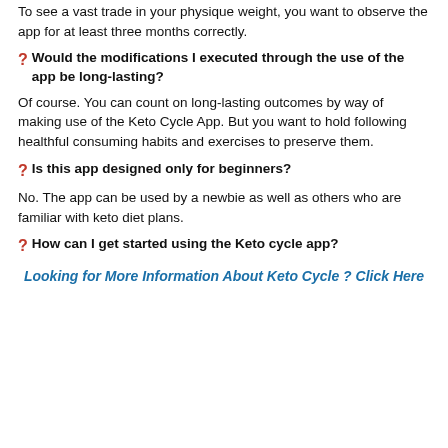To see a vast trade in your physique weight, you want to observe the app for at least three months correctly.
Would the modifications I executed through the use of the app be long-lasting?
Of course. You can count on long-lasting outcomes by way of making use of the Keto Cycle App. But you want to hold following healthful consuming habits and exercises to preserve them.
Is this app designed only for beginners?
No. The app can be used by a newbie as well as others who are familiar with keto diet plans.
How can I get started using the Keto cycle app?
Looking for More Information About Keto Cycle ? Click Here